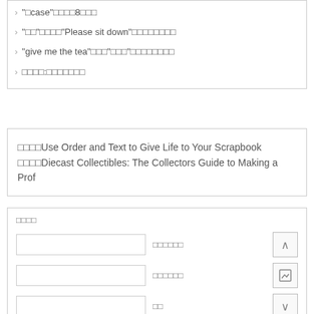"□case"□□□□8□□□
"□□"□□□□"Please sit down"□□□□□□□□
"give me the tea"□□□"□□□"□□□□□□□□
□□□□:□□□□□□□
□□□□Use Order and Text to Give Life to Your Scrapbook
□□□□Diecast Collectibles: The Collectors Guide to Making a Prof
□□□□
□□□□□□  □□□□□□  □□